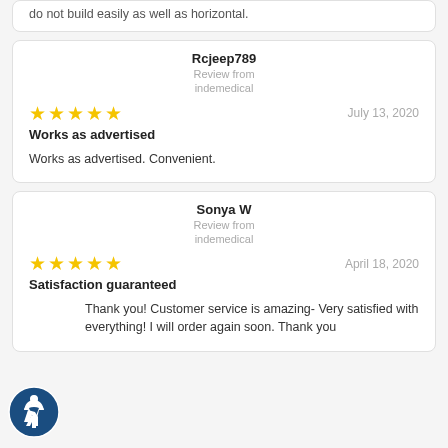do not build easily as well as horizontal.
Rcjeep789
Review from
indemedical
July 13, 2020
Works as advertised
Works as advertised. Convenient.
Sonya W
Review from
indemedical
April 18, 2020
Satisfaction guaranteed
Thank you! Customer service is amazing- Very satisfied with everything! I will order again soon. Thank you